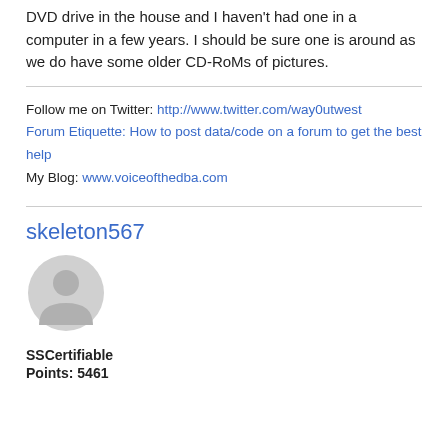DVD drive in the house and I haven't had one in a computer in a few years. I should be sure one is around as we do have some older CD-RoMs of pictures.
Follow me on Twitter: http://www.twitter.com/way0utwest
Forum Etiquette: How to post data/code on a forum to get the best help
My Blog: www.voiceofthedba.com
skeleton567
[Figure (illustration): Gray circular avatar/user profile icon]
SSCertifiable
Points: 5461